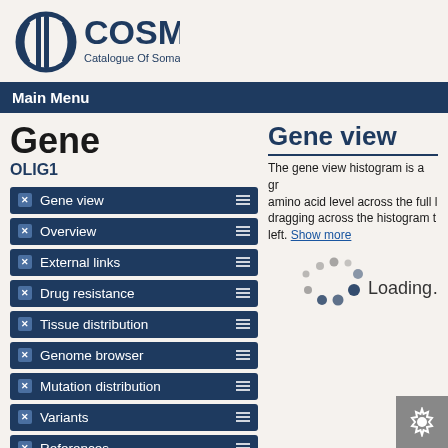[Figure (logo): COSMIC logo - Catalogue Of Somatic Mutations In Cancer with circular DNA helix icon in dark navy blue]
Main Menu
Gene
OLIG1
Gene view
Overview
External links
Drug resistance
Tissue distribution
Genome browser
Mutation distribution
Variants
References
Reset page
Gene view
The gene view histogram is a gr... amino acid level across the full l... dragging across the histogram t... left. Show more
[Figure (other): Loading spinner animation with dots in circular pattern followed by Loading... text]